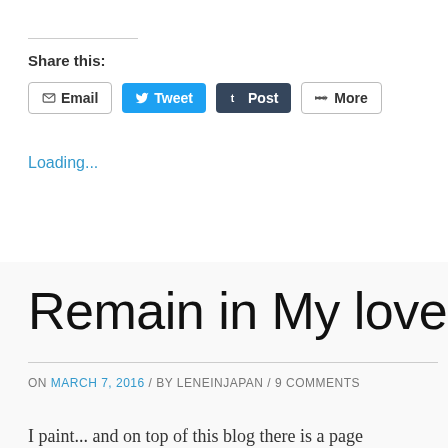Share this:
[Figure (screenshot): Social sharing buttons: Email, Tweet, Post, More]
Loading...
Remain in My love
ON MARCH 7, 2016 / BY LENEINJAPAN / 9 COMMENTS
I paint... and on top of this blog there is a page